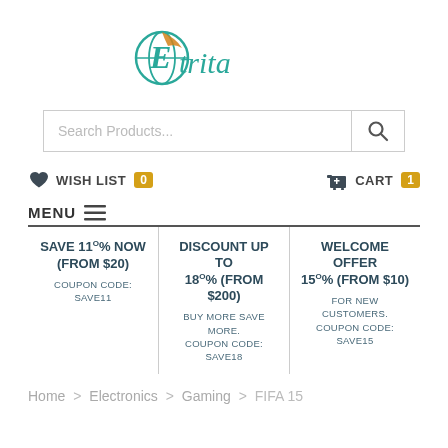[Figure (logo): Etrita brand logo with globe icon in teal and orange colors and cursive/script text]
Search Products...
WISH LIST 0   CART 1
MENU
SAVE 11% NOW (FROM $20)
COUPON CODE: SAVE11
DISCOUNT UP TO 18% (FROM $200)
BUY MORE SAVE MORE.
COUPON CODE: SAVE18
WELCOME OFFER 15% (FROM $10)
FOR NEW CUSTOMERS.
COUPON CODE: SAVE15
Home > Electronics > Gaming > FIFA 15